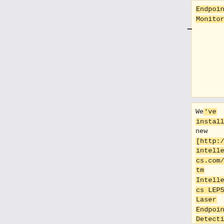Endpoint Monitors ===
PlasmaPro ICP Etcher installed ===
We've installed new [http://www.intellemetrics.com/LEP.htm Intellemetrics LEP500 Laser Endpoint Detection] monitoring on the [[DSEIII_(PlasmaTherm/Deep_Silicon_E...
We have a new ICP etcher in Bay 2: